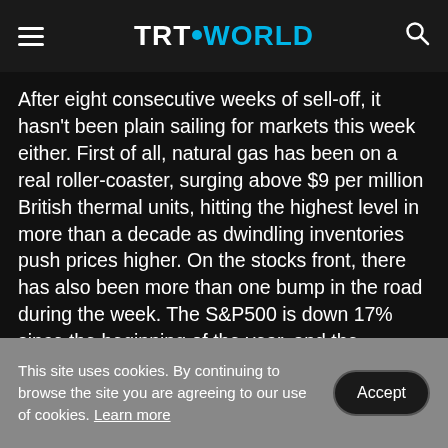TRT WORLD
After eight consecutive weeks of sell-off, it hasn't been plain sailing for markets this week either. First of all, natural gas has been on a real roller-coaster, surging above $9 per million British thermal units, hitting the highest level in more than a decade as dwindling inventories push prices higher. On the stocks front, there has also been more than one bump in the road during the week. The S&P500 is down 17% since the beginning of the year, and the Nasdaq nearly 30%. #NaturalGas #StockMarkets
This site uses cookies. By continuing to browse the site you are agreeing to our use of cookies. Learn more